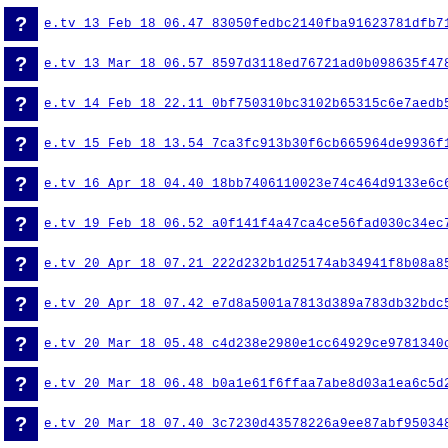e.tv  13  Feb  18  06.47  83050fedbc2140fba91623781dfb7140
e.tv  13  Mar  18  06.57  8597d3118ed76721ad0b098635f47856
e.tv  14  Feb  18  22.11  0bf750310bc3102b65315c6e7aedb574
e.tv  15  Feb  18  13.54  7ca3fc913b30f6cb665964de9936f134
e.tv  16  Apr  18  04.40  18bb7406110023e74c464d9133e6c609
e.tv  19  Feb  18  06.52  a0f141f4a47ca4ce56fad030c34ec792
e.tv  20  Apr  18  07.21  222d232b1d25174ab34941f8b08a8567
e.tv  20  Apr  18  07.42  e7d8a5001a7813d389a783db32bdc510
e.tv  20  Mar  18  05.48  c4d238e2980e1cc64929ce9781340c85
e.tv  20  Mar  18  06.48  b0a1e61f6ffaa7abe8d03a1ea6c5d2fb
e.tv  20  Mar  18  07.40  3c7230d43578226a9ee87abf95034803